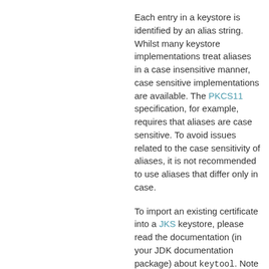Each entry in a keystore is identified by an alias string. Whilst many keystore implementations treat aliases in a case insensitive manner, case sensitive implementations are available. The PKCS11 specification, for example, requires that aliases are case sensitive. To avoid issues related to the case sensitivity of aliases, it is not recommended to use aliases that differ only in case.
To import an existing certificate into a JKS keystore, please read the documentation (in your JDK documentation package) about keytool. Note that OpenSSL often adds